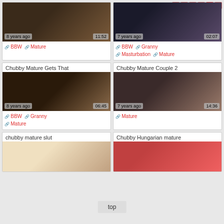[Figure (screenshot): Video thumbnail grid of adult content website showing 6 video cards in 2 columns with thumbnails, timestamps, age labels, and tag links. Pagination buttons 1-5 and next visible top right.]
BBW  Mature
BBW  Granny  Masturbation  Mature
Chubby Mature Gets That
Chubby Mature Couple 2
BBW  Granny  Mature
Mature
chubby mature slut
Chubby Hungarian mature
top